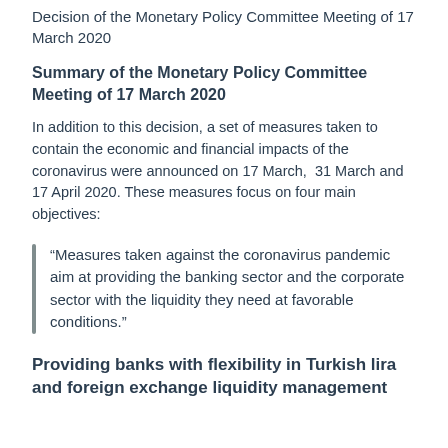Decision of the Monetary Policy Committee Meeting of 17 March 2020
Summary of the Monetary Policy Committee Meeting of 17 March 2020
In addition to this decision, a set of measures taken to contain the economic and financial impacts of the coronavirus were announced on 17 March, 31 March and 17 April 2020. These measures focus on four main objectives:
“Measures taken against the coronavirus pandemic aim at providing the banking sector and the corporate sector with the liquidity they need at favorable conditions.”
Providing banks with flexibility in Turkish lira and foreign exchange liquidity management